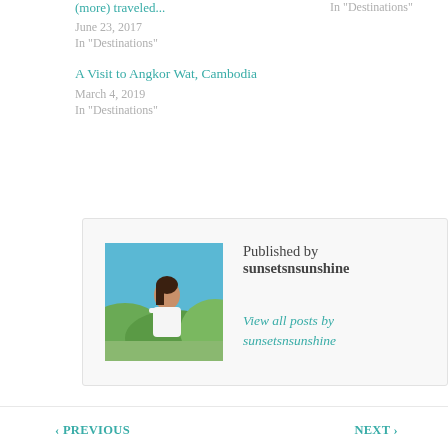(more) traveled...
June 23, 2017
In "Destinations"
In "Destinations"
A Visit to Angkor Wat, Cambodia
March 4, 2019
In "Destinations"
Published by sunsetsnsunshine
[Figure (photo): Photo of a woman in a white off-shoulder dress outdoors with blue sky and greenery in background]
View all posts by sunsetsnsunshine
‹ PREVIOUS
NEXT ›